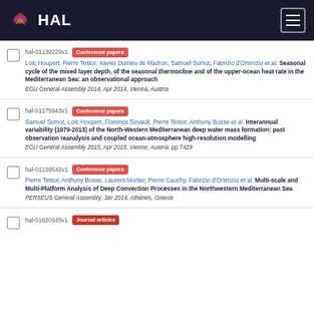HAL
hal-01139229v1 Conference papers
Loïc Houpert, Pierre Testor, Xavier Durrieu de Madron, Samuel Somot, Fabrizio d'Ortenzio et al. Seasonal cycle of the mixed layer depth, of the seasonal thermocline and of the upper-ocean heat rate in the Mediterranean Sea: an observational approach
EGU General Assembly 2014, Apr 2014, Vienna, Austria
hal-01175943v1 Conference papers
Samuel Somot, Loïc Houpert, Florence Sevault, Pierre Testor, Anthony Bosse et al. Interannual variability (1979-2013) of the North-Western Mediterranean deep water mass formation: past observation reanalysis and coupled ocean-atmosphere high-resolution modelling
EGU General Assembly 2015, Apr 2015, Vienne, Austria. pp.7429
hal-01139542v1 Conference papers
Pierre Testor, Anthony Bosse, Laurent Mortier, Pierre Cauchy, Fabrizio d'Ortenzio et al. Multi-scale and Multi-Platform Analysis of Deep Convection Processes in the Northwestern Mediterranean Sea
PERSEUS General Assembly, Jan 2014, Athènes, Greece
hal-01620945v1 Journal articles